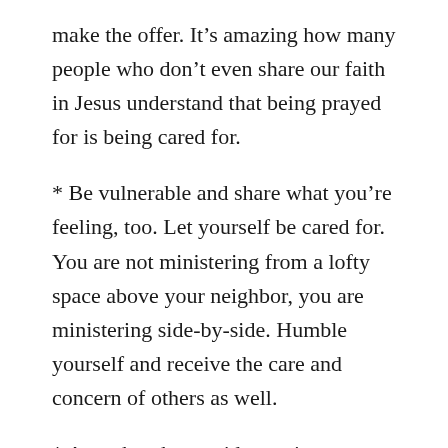make the offer. It’s amazing how many people who don’t even share our faith in Jesus understand that being prayed for is being cared for.
* Be vulnerable and share what you’re feeling, too. Let yourself be cared for. You are not ministering from a lofty space above your neighbor, you are ministering side-by-side. Humble yourself and receive the care and concern of others as well.
* As a church, consider setting up a neighborhood emergency fund. These funds could be used to buy food and household goods for families out of work and kids who are not getting meals at school. Take cues from existing ministries and government organizations about